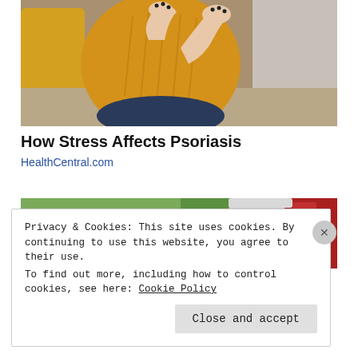[Figure (photo): A person in a yellow knit sweater sitting on a couch, scratching or touching their wrist/arm, with grey and yellow pillows in the background.]
How Stress Affects Psoriasis
HealthCentral.com
[Figure (photo): A blurred image showing a laptop or electronic device on a green background with a red/silver device visible on the right.]
Privacy & Cookies: This site uses cookies. By continuing to use this website, you agree to their use.
To find out more, including how to control cookies, see here: Cookie Policy
Close and accept